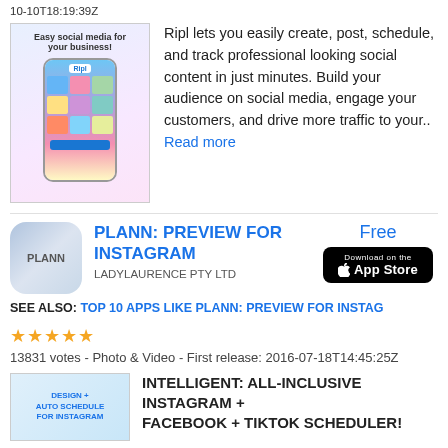10-10T18:19:39Z
[Figure (screenshot): Ripl app screenshot showing phone with colorful social media grid and tagline 'Easy social media for your business!']
Ripl lets you easily create, post, schedule, and track professional looking social content in just minutes. Build your audience on social media, engage your customers, and drive more traffic to your.. Read more
PLANN: PREVIEW FOR INSTAGRAM
Free
[Figure (logo): App Store download button on black background]
[Figure (logo): PLANN app icon - grey/blue gradient rounded square with PLANN text]
LADYLAURENCE PTY LTD
SEE ALSO: TOP 10 APPS LIKE PLANN: PREVIEW FOR INSTAG
★★★★★  13831 votes - Photo & Video - First release: 2016-07-18T14:45:25Z
[Figure (screenshot): App screenshot with text: DESIGN + AUTO SCHEDULE FOR INSTAGRAM]
INTELLIGENT: ALL-INCLUSIVE INSTAGRAM + FACEBOOK + TIKTOK SCHEDULER!